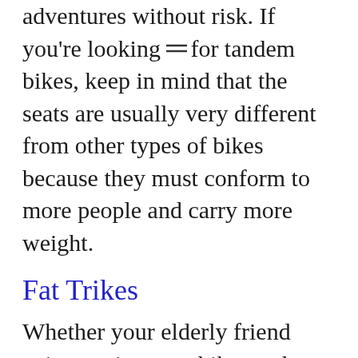adventures without risk. If you're looking for tandem bikes, keep in mind that the seats are usually very different from other types of bikes because they must conform to more people and carry more weight.
Fat Trikes
Whether your elderly friend enjoys going on a bike on the weekends or has been cycling his entire life, you can rest knowing that they'll be more safe and secure while riding with these rubber wheels.
These wheels can handle some of the